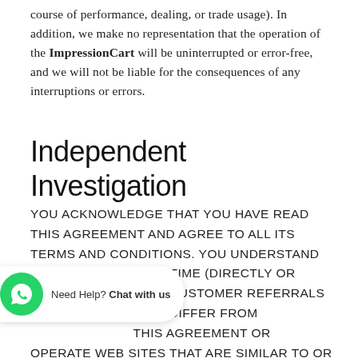course of performance, dealing, or trade usage). In addition, we make no representation that the operation of the ImpressionCart will be uninterrupted or error-free, and we will not be liable for the consequences of any interruptions or errors.
Independent Investigation
YOU ACKNOWLEDGE THAT YOU HAVE READ THIS AGREEMENT AND AGREE TO ALL ITS TERMS AND CONDITIONS. YOU UNDERSTAND THAT WE MAY AT ANY TIME (DIRECTLY OR INDIRECTLY) SOLICIT CUSTOMER REFERRALS ON TERMS THAT MAY DIFFER FROM THIS AGREEMENT OR OPERATE WEB SITES THAT ARE SIMILAR TO OR COMPETE WITH YOUR WEB SITE. YOU HAVE